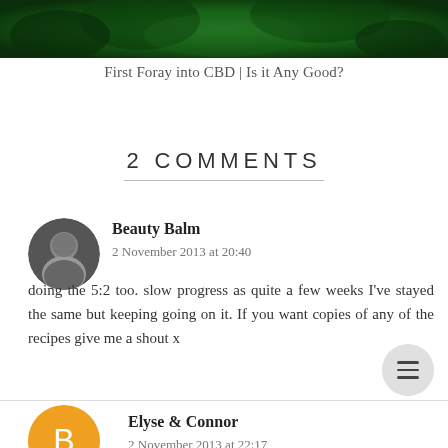[Figure (photo): Green foliage / plant image cropped at top of page]
First Foray into CBD | Is it Any Good?
2 COMMENTS
[Figure (photo): Circular avatar of Beauty Balm commenter, dark monochrome portrait]
Beauty Balm
2 November 2013 at 20:40
doing the 5:2 too. slow progress as quite a few weeks I've stayed the same but keeping going on it. If you want copies of any of the recipes give me a shout x
[Figure (illustration): Circular Blogger avatar icon in orange for Elyse & Connor]
Elyse & Connor
2 November 2013 at 22:17